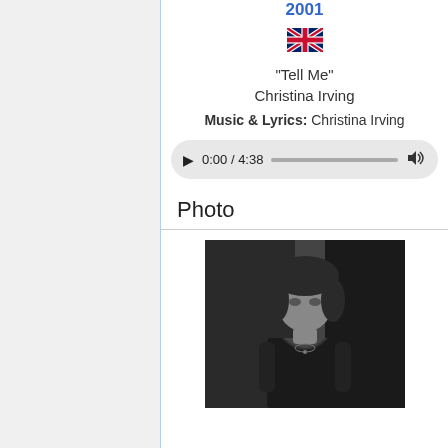2001
[Figure (illustration): UK flag emoji]
"Tell Me"
Christina Irving
Music & Lyrics: Christina Irving
[Figure (other): Audio player showing 0:00 / 4:38 with progress bar and volume icon]
Photo
[Figure (photo): Black and white photograph of a woman with dark hair wearing a dark sleeveless top]